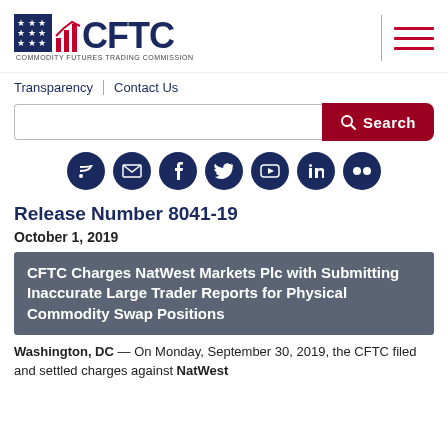[Figure (logo): CFTC – Commodity Futures Trading Commission logo with stars and bar chart icon]
[Figure (other): Hamburger menu icon (three red horizontal lines) with vertical separator bar]
Transparency | Contact Us
[Figure (other): Search bar with red Search button and magnifying glass icon]
[Figure (other): Row of 7 social media icons: RSS, Email, Facebook, Twitter, YouTube, LinkedIn, Flickr]
Release Number 8041-19
October 1, 2019
CFTC Charges NatWest Markets Plc with Submitting Inaccurate Large Trader Reports for Physical Commodity Swap Positions
Washington, DC — On Monday, September 30, 2019, the CFTC filed and settled charges against NatWest